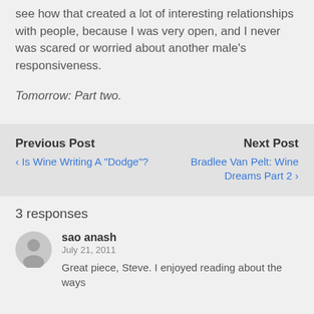see how that created a lot of interesting relationships with people, because I was very open, and I never was scared or worried about another male's responsiveness.
Tomorrow: Part two.
Previous Post
‹ Is Wine Writing A "Dodge"?
Next Post
Bradlee Van Pelt: Wine Dreams Part 2 ›
3 responses
sao anash
July 21, 2011
Great piece, Steve. I enjoyed reading about the ways